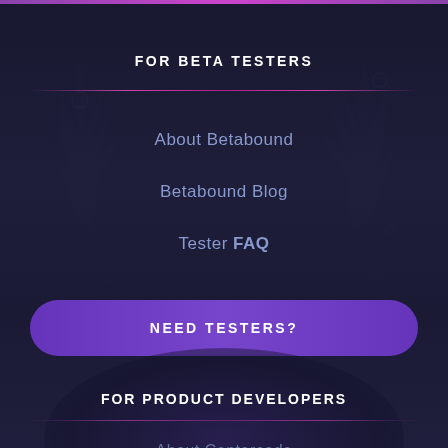FOR BETA TESTERS
About Betabound
Betabound Blog
Tester FAQ
NEED TESTERS?
FOR PRODUCT DEVELOPERS
About Centercode
Centercode Blog